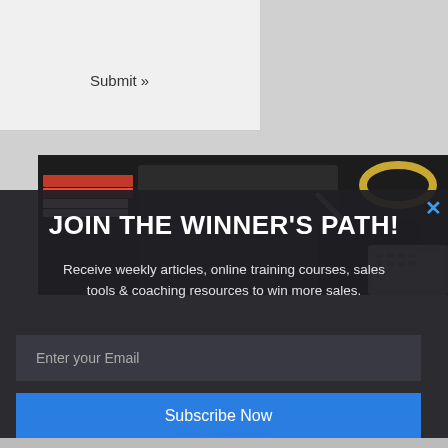Submit »
[Figure (photo): Dark background with books, pen, smartphone and laptop keyboard — background image for a modal overlay popup]
JOIN THE WINNER'S PATH!
Receive weekly articles, online training courses, sales tools & coaching resources to win more sales.
Enter your Email
Subscribe Now
NO THANKS